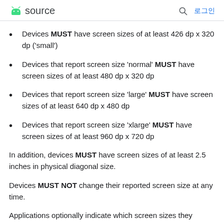android source | 로그인
Devices MUST have screen sizes of at least 426 dp x 320 dp ('small')
Devices that report screen size 'normal' MUST have screen sizes of at least 480 dp x 320 dp
Devices that report screen size 'large' MUST have screen sizes of at least 640 dp x 480 dp
Devices that report screen size 'xlarge' MUST have screen sizes of at least 960 dp x 720 dp
In addition, devices MUST have screen sizes of at least 2.5 inches in physical diagonal size.
Devices MUST NOT change their reported screen size at any time.
Applications optionally indicate which screen sizes they